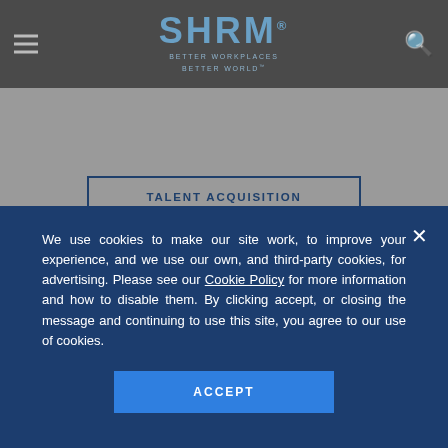SHRM — BETTER WORKPLACES BETTER WORLD
TALENT ACQUISITION
Federal Government
We use cookies to make our site work, to improve your experience, and we use our own, and third-party cookies, for advertising. Please see our Cookie Policy for more information and how to disable them. By clicking accept, or closing the message and continuing to use this site, you agree to our use of cookies.
ACCEPT